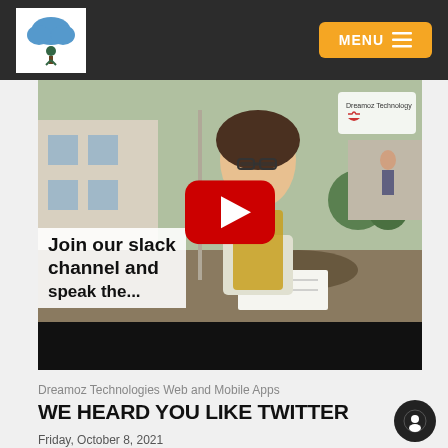Dreamoz Technologies — MENU
[Figure (screenshot): YouTube video thumbnail showing a young woman with glasses looking at her phone at an outdoor café table, with text overlay 'Join our slack channel and speak the...' and a YouTube play button in the center. The video is embedded in a dark player with a black bottom bar.]
Dreamoz Technologies Web and Mobile Apps
WE HEARD YOU LIKE TWITTER
Friday, October 8, 2021